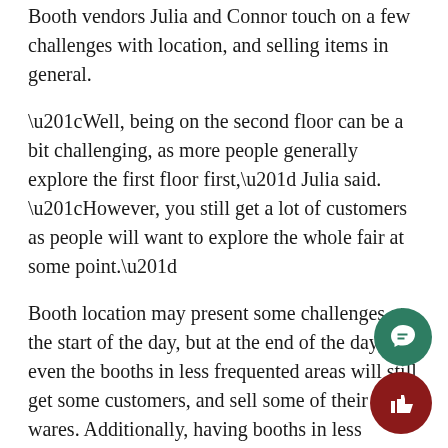Booth vendors Julia and Connor touch on a few challenges with location, and selling items in general.
“Well, being on the second floor can be a bit challenging, as more people generally explore the first floor first,” Julia said. “However, you still get a lot of customers as people will want to explore the whole fair at some point.”
Booth location may present some challenges at the start of the day, but at the end of the day, even the booths in less frequented areas will still get some customers, and sell some of their wares. Additionally, having booths in less populated areas doesn’t mean that people won’t buy products; fairgoers will still purchase interesting and appealing items.
Customer and fairgoer Anne lists what she likes about the fair, and some aspects that could be improved.